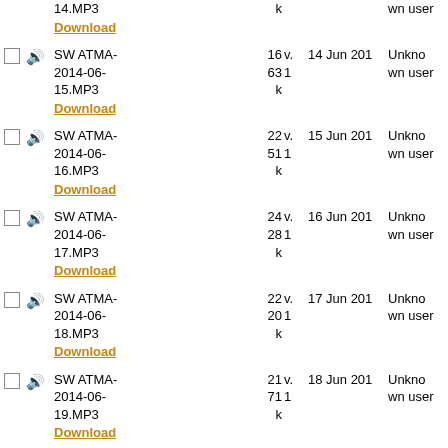SW ATMA-2014-06-14.MP3 Download, 14k, v.1, wn user
SW ATMA-2014-06-15.MP3 Download, 1663k, v.1, 14 Jun 201, Unknown user
SW ATMA-2014-06-16.MP3 Download, 2251k, v.1, 15 Jun 201, Unknown user
SW ATMA-2014-06-17.MP3 Download, 2428k, v.1, 16 Jun 201, Unknown user
SW ATMA-2014-06-18.MP3 Download, 2220k, v.1, 17 Jun 201, Unknown user
SW ATMA-2014-06-19.MP3 Download, 2171k, v.1, 18 Jun 201, Unknown user
SW ATMA- partial, 20k, v., 19 Jun 201, Unkno